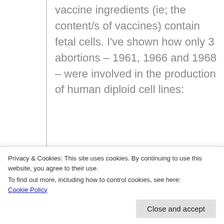vaccine ingredients (ie; the content/s of vaccines) contain fetal cells. I've shown how only 3 abortions – 1961, 1966 and 1968 – were involved in the production of human diploid cell lines:
[Figure (other): Partially visible image or table placeholder at bottom of content area]
Privacy & Cookies: This site uses cookies. By continuing to use this website, you agree to their use.
To find out more, including how to control cookies, see here:
Cookie Policy